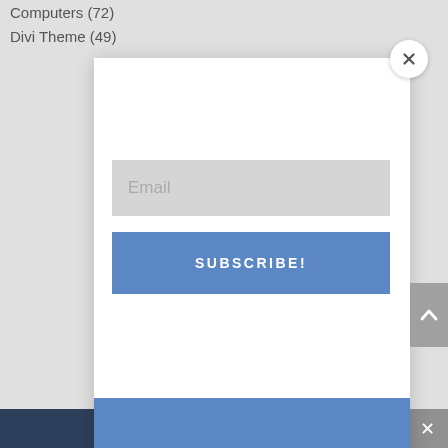Computers (72)
Divi Theme (49)
[Figure (screenshot): Modal popup with email input field labeled 'Email', a blue 'SUBSCRIBE!' button, and a blue section at the bottom. A white circular close button with an X is at the top right of the modal.]
[Figure (screenshot): Gray scroll-to-top button with an upward chevron arrow on the right side of the page.]
Share This   ∨
×